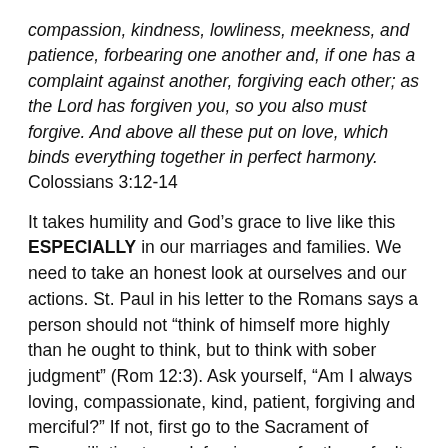compassion, kindness, lowliness, meekness, and patience, forbearing one another and, if one has a complaint against another, forgiving each other; as the Lord has forgiven you, so you also must forgive. And above all these put on love, which binds everything together in perfect harmony. Colossians 3:12-14
It takes humility and God's grace to live like this ESPECIALLY in our marriages and families. We need to take an honest look at ourselves and our actions. St. Paul in his letter to the Romans says a person should not “think of himself more highly than he ought to think, but to think with sober judgment” (Rom 12:3). Ask yourself, “Am I always loving, compassionate, kind, patient, forgiving and merciful?” If not, first go to the Sacrament of Reconciliation to seek forgiveness for these faults. Ask for forgiveness from family members that you have offended. Ask God to